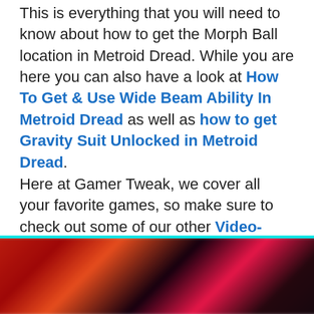This is everything that you will need to know about how to get the Morph Ball location in Metroid Dread. While you are here you can also have a look at How To Get & Use Wide Beam Ability In Metroid Dread as well as how to get Gravity Suit Unlocked in Metroid Dread.
Here at Gamer Tweak, we cover all your favorite games, so make sure to check out some of our other Video-Game Guides.
Nintendo Switch
Tips and Tricks
[Figure (screenshot): Share buttons row: Share, Facebook, Twitter, Reddit, WhatsApp, Pinterest, Email]
[Figure (photo): Blurred colorful game screenshot preview at bottom of page]